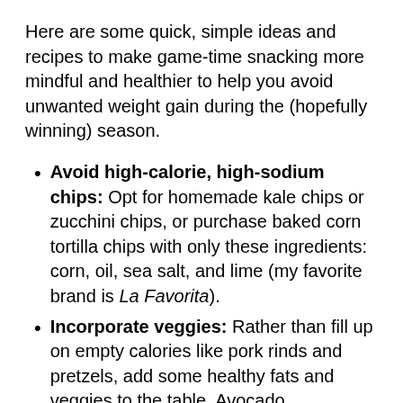Here are some quick, simple ideas and recipes to make game-time snacking more mindful and healthier to help you avoid unwanted weight gain during the (hopefully winning) season.
Avoid high-calorie, high-sodium chips: Opt for homemade kale chips or zucchini chips, or purchase baked corn tortilla chips with only these ingredients: corn, oil, sea salt, and lime (my favorite brand is La Favorita).
Incorporate veggies: Rather than fill up on empty calories like pork rinds and pretzels, add some healthy fats and veggies to the table. Avocado